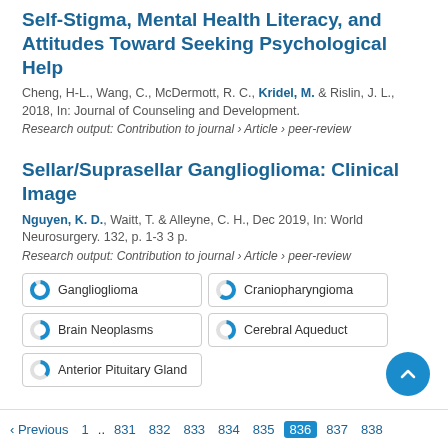Self-Stigma, Mental Health Literacy, and Attitudes Toward Seeking Psychological Help
Cheng, H-L., Wang, C., McDermott, R. C., Kridel, M. & Rislin, J. L., 2018, In: Journal of Counseling and Development.
Research output: Contribution to journal › Article › peer-review
Sellar/Suprasellar Ganglioglioma: Clinical Image
Nguyen, K. D., Waitt, T. & Alleyne, C. H., Dec 2019, In: World Neurosurgery. 132, p. 1-3 3 p.
Research output: Contribution to journal › Article › peer-review
Ganglioglioma
Craniopharyngioma
Brain Neoplasms
Cerebral Aqueduct
Anterior Pituitary Gland
‹ Previous  1 .. 831  832  833  834  835  836  837  838